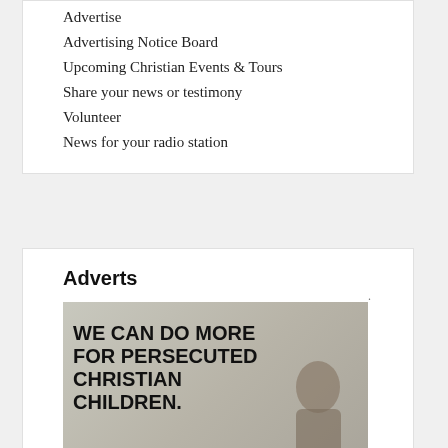Advertise
Advertising Notice Board
Upcoming Christian Events & Tours
Share your news or testimony
Volunteer
News for your radio station
Adverts
[Figure (photo): Advertisement image with bold text reading 'WE CAN DO MORE FOR PERSECUTED CHRISTIAN CHILDREN.' with a photo of a child in background]